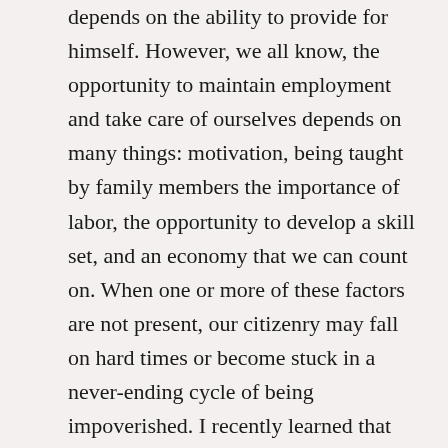depends on the ability to provide for himself. However, we all know, the opportunity to maintain employment and take care of ourselves depends on many things: motivation, being taught by family members the importance of labor, the opportunity to develop a skill set, and an economy that we can count on. When one or more of these factors are not present, our citizenry may fall on hard times or become stuck in a never-ending cycle of being impoverished. I recently learned that 76 percent of Americans are living paycheck to paycheck. Additionally, I was told more than half of people in the U.S. cannot